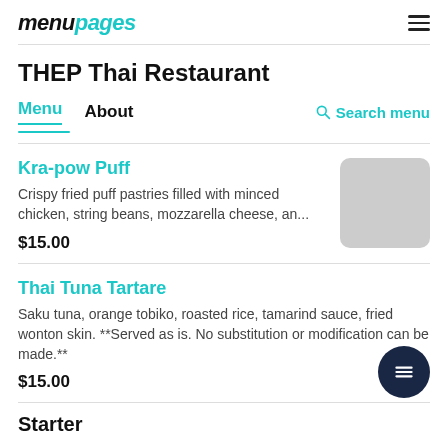menupages
THEP Thai Restaurant
Menu   About   Search menu
Kra-pow Puff
Crispy fried puff pastries filled with minced chicken, string beans, mozzarella cheese, an...
$15.00
Thai Tuna Tartare
Saku tuna, orange tobiko, roasted rice, tamarind sauce, fried wonton skin. **Served as is. No substitution or modification can be made.**
$15.00
Starter